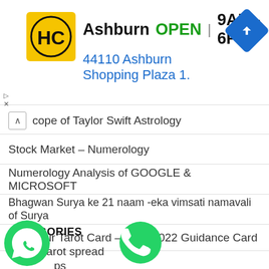[Figure (infographic): Ad banner for HC store in Ashburn showing store logo (yellow circle with HC), business name, OPEN status, hours 9AM-6PM, address 44110 Ashburn Shopping Plaza 1., and blue navigation diamond icon]
cope of Taylor Swift Astrology
Stock Market – Numerology
Numerology Analysis of GOOGLE & MICROSOFT
Bhagwan Surya ke 21 naam -eka vimsati namavali of Surya
Pick your Tarot Card – June 2022 Guidance Card
CATEGORIES
5 card tarot spread
ps
[Figure (logo): WhatsApp green circular logo button at bottom left]
[Figure (logo): Green phone call circular button at bottom center]